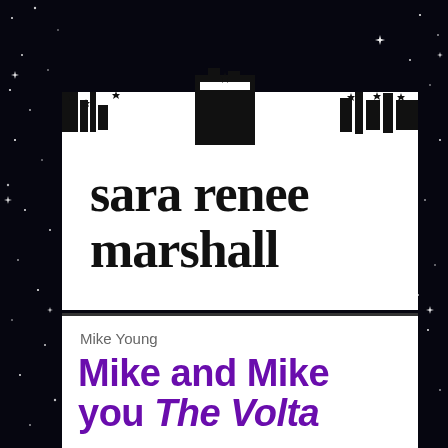[Figure (illustration): Dark starry night sky background with white star sparkles scattered throughout. A decorative jagged silhouette band runs horizontally across the upper portion, featuring stylized castle/cityscape shapes with stars integrated into the design.]
sara renee marshall
Mike Young
Mike and Mike you The Volta